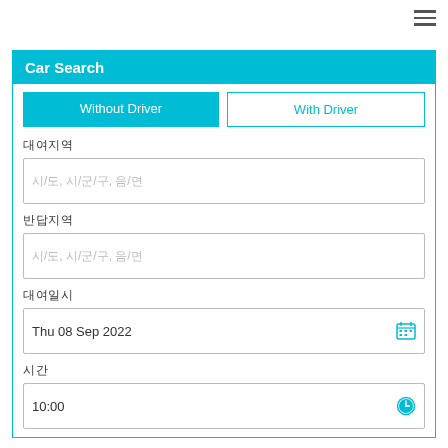[Figure (other): Hamburger menu icon (three horizontal lines) in top right corner]
Car Search
Without Driver | With Driver (tab buttons)
대여지역 (pickup location label)
시/도, 시/군/구, 읍/면 (pickup location placeholder)
반납지역 (return location label)
시/도, 시/군/구, 읍/면 (return location placeholder)
대여일시 (rental date label)
Thu 08 Sep 2022
시간 (time label)
10:00